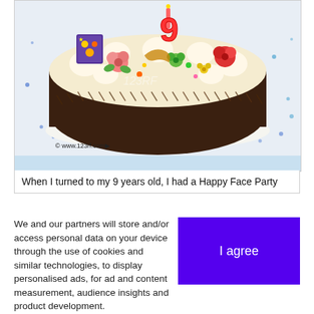[Figure (photo): Photo of a birthday cake decorated with cream, flowers, a number 9 candle, and chocolate shavings on the sides. Watermarked with '123RF' and '© www.123rf.com' at the bottom left.]
When I turned to my 9 years old, I had a Happy Face Party
We and our partners will store and/or access personal data on your device through the use of cookies and similar technologies, to display personalised ads, for ad and content measurement, audience insights and product development.

By clicking 'I agree,' you consent to this, or you can manage your preferences.